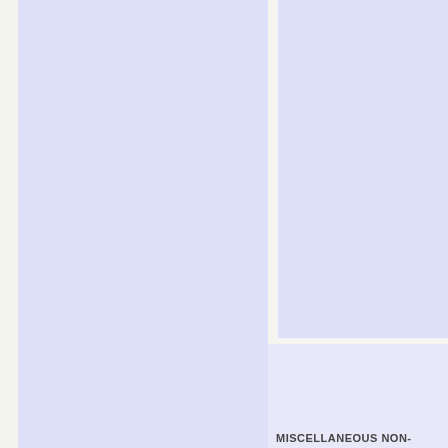[Figure (other): Left panel - large blue-lavender rectangle occupying most of the left portion of the page]
[Figure (other): Right top panel - blue-lavender rectangle in the upper right portion of the page]
[Figure (other): Right bottom panel - lighter blue-lavender rectangle in the lower right portion of the page]
MISCELLANEOUS NON-